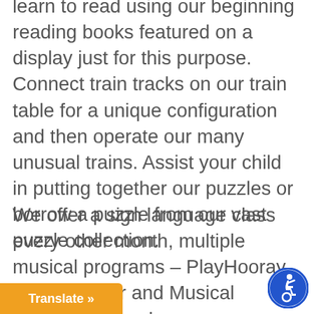learn to read using our beginning reading books featured on a display just for this purpose. Connect train tracks on our train table for a unique configuration and then operate our many unusual trains. Assist your child in putting together our puzzles or borrow a puzzle from our vast puzzle collection.
We offer a sign language class every other month, multiple musical programs – PlayHooray, Miss Heather and Musical Playground, and an open [space] with our educational